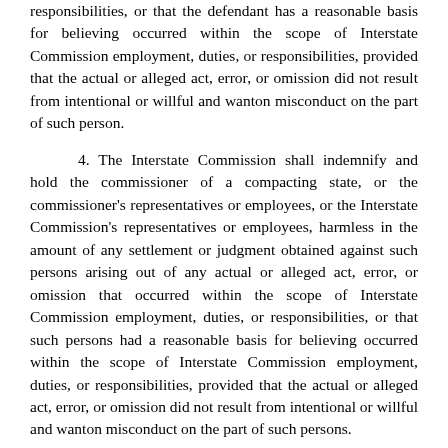responsibilities, or that the defendant has a reasonable basis for believing occurred within the scope of Interstate Commission employment, duties, or responsibilities, provided that the actual or alleged act, error, or omission did not result from intentional or willful and wanton misconduct on the part of such person.
4. The Interstate Commission shall indemnify and hold the commissioner of a compacting state, or the commissioner's representatives or employees, or the Interstate Commission's representatives or employees, harmless in the amount of any settlement or judgment obtained against such persons arising out of any actual or alleged act, error, or omission that occurred within the scope of Interstate Commission employment, duties, or responsibilities, or that such persons had a reasonable basis for believing occurred within the scope of Interstate Commission employment, duties, or responsibilities, provided that the actual or alleged act, error, or omission did not result from intentional or willful and wanton misconduct on the part of such persons.
ARTICLE VI
RULEMAKING FUNCTIONS OF THE INTERSTATE COMMISSION